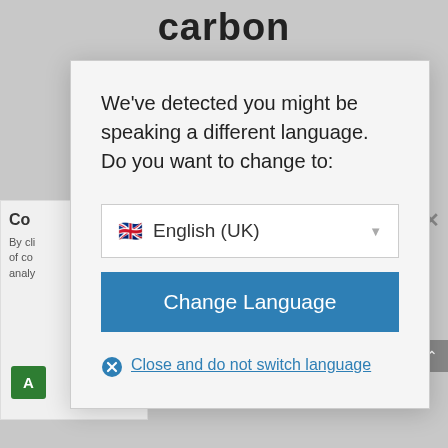carbon
We've detected you might be speaking a different language. Do you want to change to:
English (UK)
Change Language
Close and do not switch language